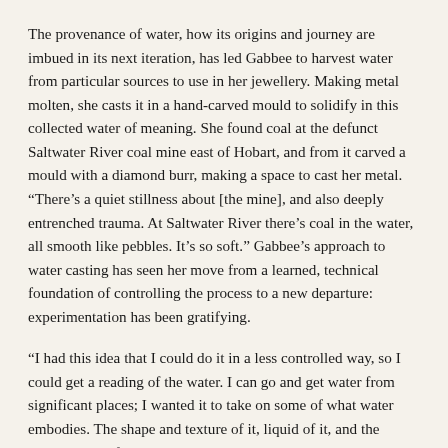The provenance of water, how its origins and journey are imbued in its next iteration, has led Gabbee to harvest water from particular sources to use in her jewellery. Making metal molten, she casts it in a hand-carved mould to solidify in this collected water of meaning. She found coal at the defunct Saltwater River coal mine east of Hobart, and from it carved a mould with a diamond burr, making a space to cast her metal. “There’s a quiet stillness about [the mine], and also deeply entrenched trauma. At Saltwater River there’s coal in the water, all smooth like pebbles. It’s so soft.” Gabbee’s approach to water casting has seen her move from a learned, technical foundation of controlling the process to a new departure: experimentation has been gratifying.
“I had this idea that I could do it in a less controlled way, so I could get a reading of the water. I can go and get water from significant places; I wanted it to take on some of what water embodies. The shape and texture of it, liquid of it, and the massiveness of it, even. When I did it, it was better than I thought it was going to be. Capturing the water was quite a delightful, happy